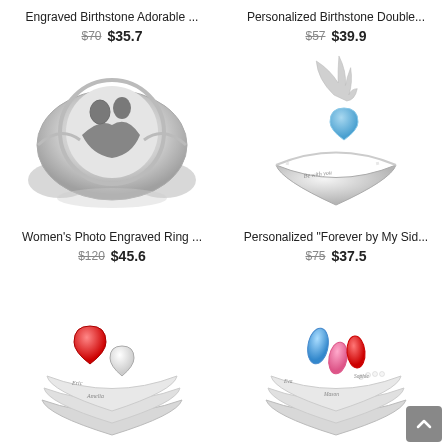Engraved Birthstone Adorable ...
$70  $35.7
[Figure (photo): Silver signet ring with engraved photo of a couple embracing, ornate band]
Personalized Birthstone Double...
$57  $39.9
[Figure (photo): Silver ring with angel wing and blue heart-shaped birthstone, 'Be with you' engraved]
Women's Photo Engraved Ring ...
$120  $45.6
[Figure (photo): Silver ring with red and white heart birthstones, names Eric and Amelia engraved]
Personalized "Forever by My Sid...
$75  $37.5
[Figure (photo): Silver ring with blue, pink, and red birthstones, names Eva, Mason, Sophie engraved]